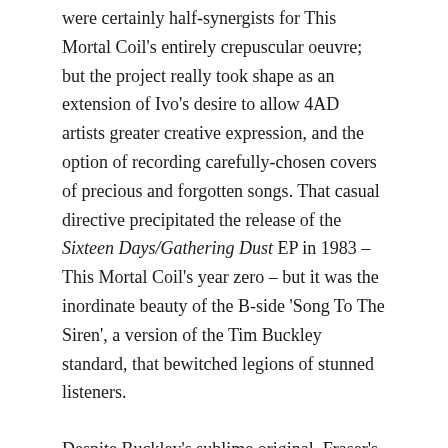were certainly half-synergists for This Mortal Coil's entirely crepuscular oeuvre; but the project really took shape as an extension of Ivo's desire to allow 4AD artists greater creative expression, and the option of recording carefully-chosen covers of precious and forgotten songs. That casual directive precipitated the release of the Sixteen Days/Gathering Dust EP in 1983 – This Mortal Coil's year zero – but it was the inordinate beauty of the B-side 'Song To The Siren', a version of the Tim Buckley standard, that bewitched legions of stunned listeners.
Despite Buckley's sublime original, Fraser's supremely haunting rendition marks This Mortal Coil out as the go-to version; there remains something infinitely alluring about listening to the eccentric, seemingly vulnerable chanteuse as she sings about the sea as a metaphor for the devastation of love. "I'm as puzzled as the new-born child / I'm as riddled as the tide," she trills, and despite repeated listens, it's an unadulterated pleasure that keeps on giving,